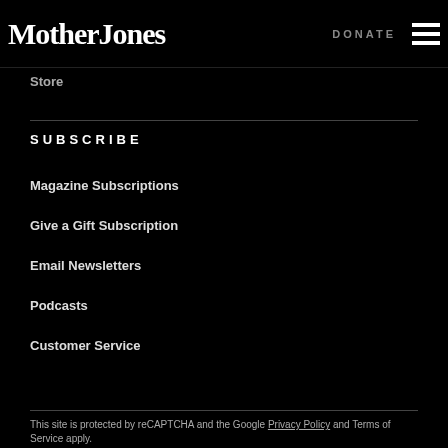Mother Jones | DONATE
Store
SUBSCRIBE
Magazine Subscriptions
Give a Gift Subscription
Email Newsletters
Podcasts
Customer Service
This site is protected by reCAPTCHA and the Google Privacy Policy and Terms of Service apply.